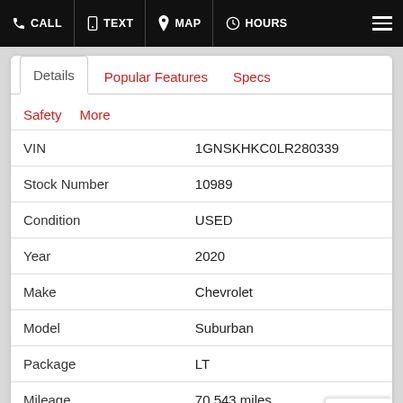CALL  TEXT  MAP  HOURS
| Field | Value |
| --- | --- |
| VIN | 1GNSKHKC0LR280339 |
| Stock Number | 10989 |
| Condition | USED |
| Year | 2020 |
| Make | Chevrolet |
| Model | Suburban |
| Package | LT |
| Mileage | 70,543 miles |
| Body Style | Sport Utility |